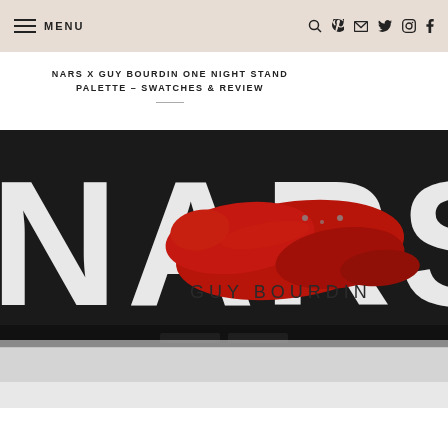MENU [hamburger icon] [search] [pinterest] [email] [twitter] [instagram] [facebook]
NARS X GUY BOURDIN ONE NIGHT STAND PALETTE – SWATCHES & REVIEW
[Figure (photo): Close-up photo of the NARS x Guy Bourdin One Night Stand palette. The palette is a matte black rectangular case with 'NARS' written in large white letters and 'GUY BOURDIN' in smaller dark text overlaid by a bold red lipstick smear brushstroke. The bottom portion shows the palette resting on a light grey surface.]